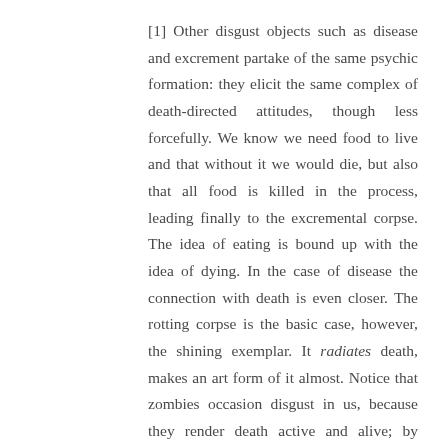[1] Other disgust objects such as disease and excrement partake of the same psychic formation: they elicit the same complex of death-directed attitudes, though less forcefully. We know we need food to live and that without it we would die, but also that all food is killed in the process, leading finally to the excremental corpse. The idea of eating is bound up with the idea of dying. In the case of disease the connection with death is even closer. The rotting corpse is the basic case, however, the shining exemplar. It radiates death, makes an art form of it almost. Notice that zombies occasion disgust in us, because they render death active and alive; by contrast, the recently deceased do not occasion the same reaction, because they are not so deep